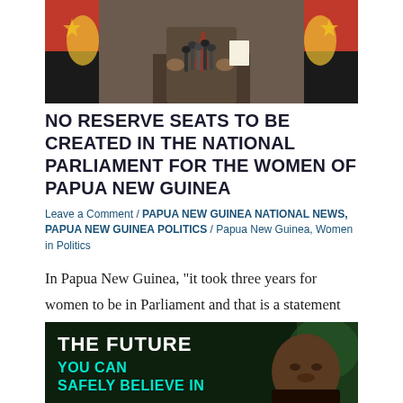[Figure (photo): A person in a suit speaking at a podium with microphones, flanked by Papua New Guinea flags (red, black, yellow with bird of paradise). The speaker's face is not fully visible, cropped at the top.]
NO RESERVE SEATS TO BE CREATED IN THE NATIONAL PARLIAMENT FOR THE WOMEN OF PAPUA NEW GUINEA
Leave a Comment / PAPUA NEW GUINEA NATIONAL NEWS, PAPUA NEW GUINEA POLITICS / Papua New Guinea, Women in Politics
In Papua New Guinea, "it took three years for women to be in Parliament and that is a statement that women were recognized as leaders...
[Figure (photo): A dark-toned image of a man's face in the foreground with text overlay reading 'THE FUTURE' in white bold letters and 'YOU CAN SAFELY BELIEVE IN' in cyan/teal letters below it.]